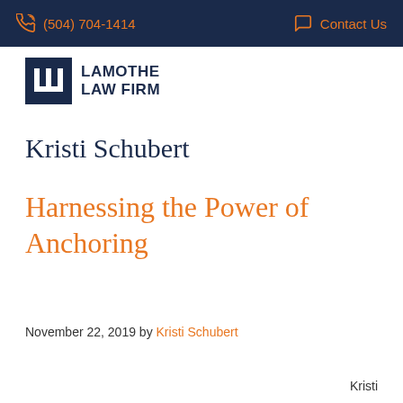(504) 704-1414   Contact Us
[Figure (logo): Lamothe Law Firm logo with navy blue square containing stylized LLF letters and firm name text to the right]
Kristi Schubert
Harnessing the Power of Anchoring
November 22, 2019 by Kristi Schubert
Kristi